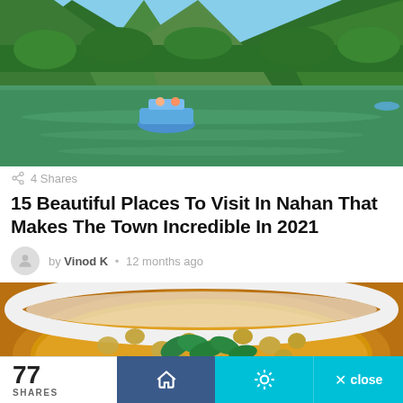[Figure (photo): Scenic lake surrounded by lush green mountains with boats on emerald green water]
4 Shares
15 Beautiful Places To Visit In Nahan That Makes The Town Incredible In 2021
by Vinod K • 12 months ago
[Figure (photo): Close-up of a bowl of chickpea curry with mint leaves garnish]
77 SHARES  [home icon]  [settings icon]  × close